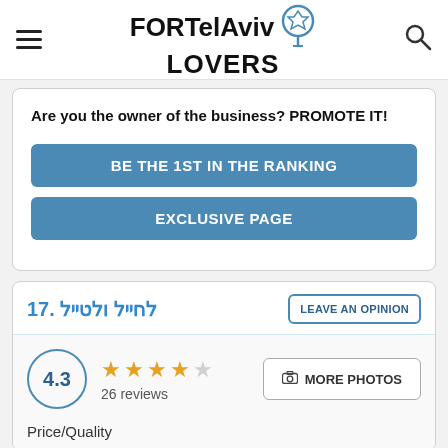FOR Tel Aviv LOVERS
Are you the owner of the business? PROMOTE IT!
BE THE 1ST IN THE RANKING
EXCLUSIVE PAGE
17. לחייל ולטייל
LEAVE AN OPINION
4.3 · 26 reviews
MORE PHOTOS
Price/Quality